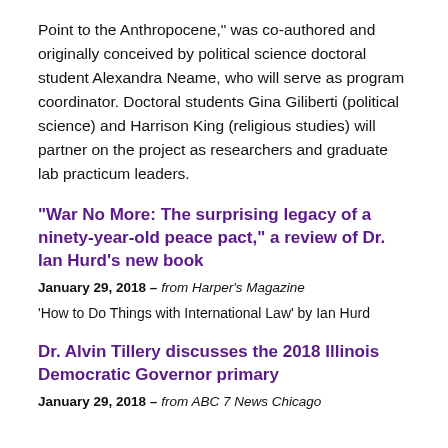Point to the Anthropocene," was co-authored and originally conceived by political science doctoral student Alexandra Neame, who will serve as program coordinator. Doctoral students Gina Giliberti (political science) and Harrison King (religious studies) will partner on the project as researchers and graduate lab practicum leaders.
"War No More: The surprising legacy of a ninety-year-old peace pact," a review of Dr. Ian Hurd's new book
January 29, 2018 – from Harper's Magazine
'How to Do Things with International Law' by Ian Hurd
Dr. Alvin Tillery discusses the 2018 Illinois Democratic Governor primary
January 29, 2018 – from ABC 7 News Chicago